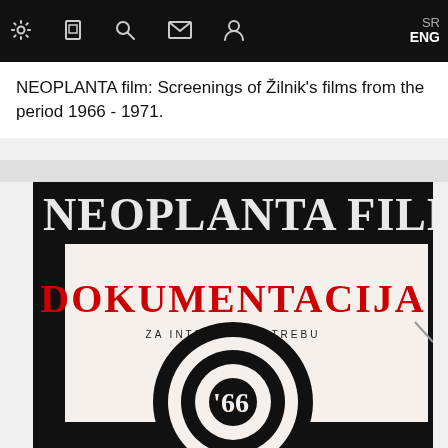Navigation bar with settings, bookmark, search, mail, user icons and SR / ENG language switcher
NEOPLANTA film: Screenings of Žilnik's films from the period 1966 - 1971.
[Figure (photo): Book or document cover for NEOPLANTA FILM DOKUMENTACIJA showing bold black header band with white serif text 'NEOPLANTA FILM', large red text 'DOKUMENTACIJA', smaller text 'ZA INTERNU UPOTREBU', and a circular concentric rings graphic with '66' in the center, on off-white background with black border frame.]